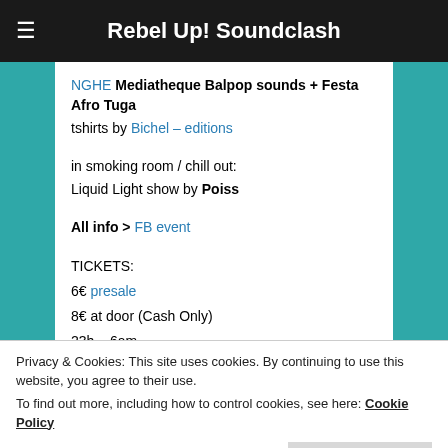Rebel Up! Soundclash
NGHE Mediatheque Balpop sounds + Festa Afro Tuga
tshirts by Bichel – editions
in smoking room / chill out:
Liquid Light show by Poiss
All info > FB event
TICKETS:
6€ presale
8€ at door (Cash Only)
23h – 6am
Privacy & Cookies: This site uses cookies. By continuing to use this website, you agree to their use. To find out more, including how to control cookies, see here: Cookie Policy
– Smoking Room Inside